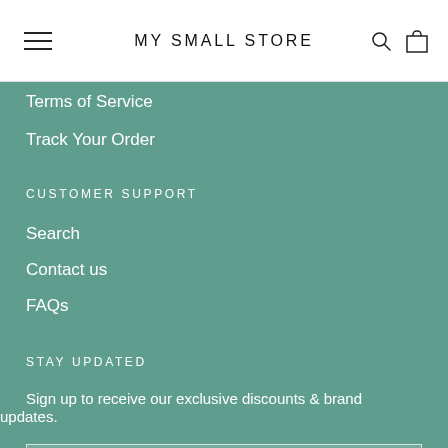MY SMALL STORE
Terms of Service
Track Your Order
CUSTOMER SUPPORT
Search
Contact us
FAQs
STAY UPDATED
Sign up to receive our exclusive discounts & brand updates.
Enter your email address